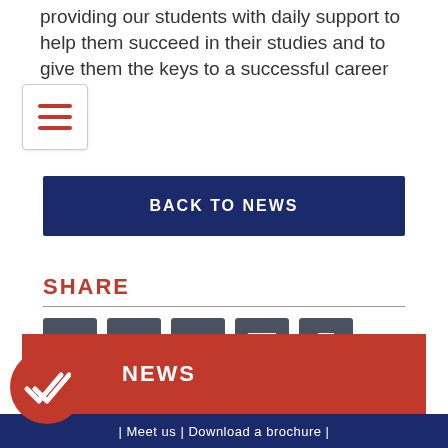providing our students with daily support to help them succeed in their studies and to give them the keys to a successful career path.
[Figure (other): Hamburger menu button icon with three red horizontal lines on white background]
BACK TO NEWS
SHARE
[Figure (other): Social media sharing icons: Facebook, Twitter, LinkedIn, Email, Print — dark grey square buttons with white icons]
NEWS
[Figure (other): Red circle with white double checkmark icon]
| Meet us | Download a brochure |